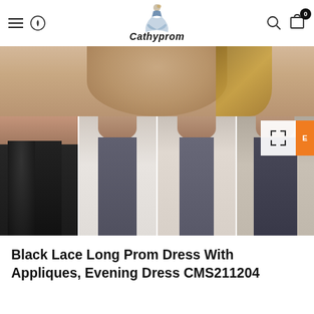Cathyprom
[Figure (photo): E-commerce product page for Cathyprom showing a black lace long prom/evening dress (CMS211204) with appliques. Top section shows a cropped close-up of the model's face; bottom thumbnail row shows four views of the dress: black lace version, grey/charcoal side-slit version (2 shots), and another view with slit.]
Black Lace Long Prom Dress With Appliques, Evening Dress CMS211204